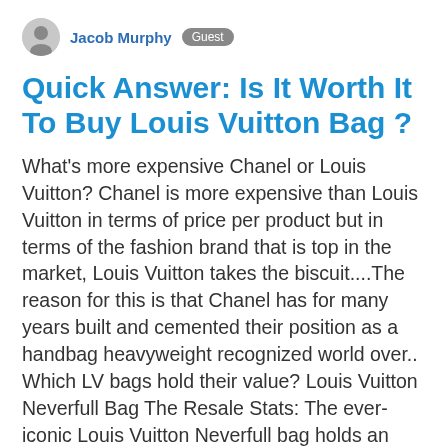Jacob Murphy  Guest
Quick Answer: Is It Worth It To Buy Louis Vuitton Bag ?
What's more expensive Chanel or Louis Vuitton? Chanel is more expensive than Louis Vuitton in terms of price per product but in terms of the fashion brand that is top in the market, Louis Vuitton takes the biscuit....The reason for this is that Chanel has for many years built and cemented their position as a handbag heavyweight recognized world over.. Which LV bags hold their value? Louis Vuitton Neverfull Bag The Resale Stats: The ever-iconic Louis Vuitton Neverfull bag holds an astonishing 91% resale value on average. The Story Behind The Style: Marc Jacobs is the mind behind the must-have Neverfull, which has quickly become a classic — it has only been in existence since 2007. It is the ideal ...